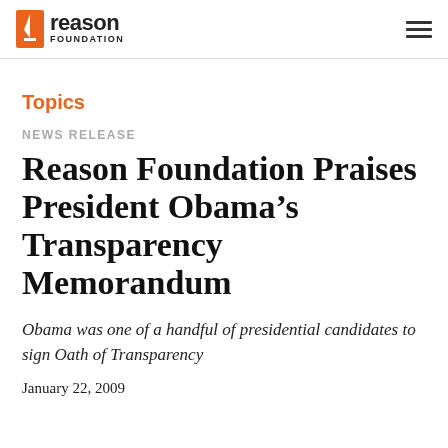reason FOUNDATION
Topics
NEWS RELEASE
Reason Foundation Praises President Obama’s Transparency Memorandum
Obama was one of a handful of presidential candidates to sign Oath of Transparency
January 22, 2009